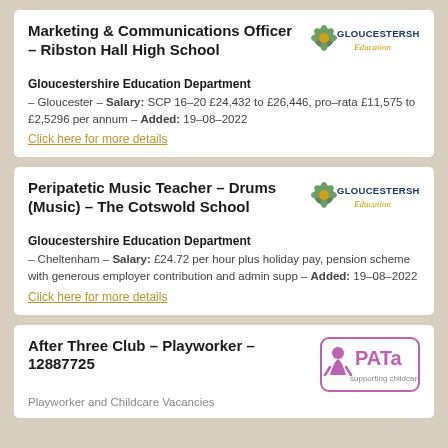Marketing & Communications Officer - Ribston Hall High School
Gloucestershire Education Department – Gloucester – Salary: SCP 16-20 £24,432 to £26,446, pro-rata £11,575 to £2,5296 per annum – Added: 19-08-2022
Click here for more details
Peripatetic Music Teacher - Drums (Music) - The Cotswold School
Gloucestershire Education Department – Cheltenham – Salary: £24.72 per hour plus holiday pay, pension scheme with generous employer contribution and admin supp – Added: 19-08-2022
Click here for more details
After Three Club - Playworker - 12887725
Playworker and Childcare Vacancies